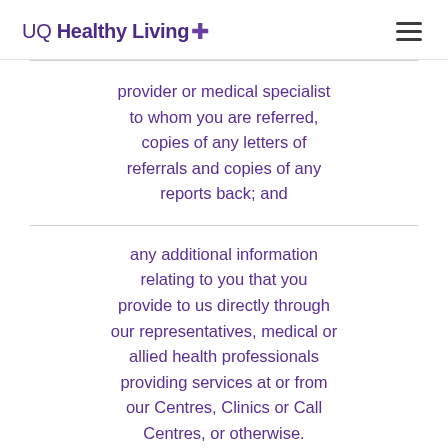UQ Healthy Living
provider or medical specialist to whom you are referred, copies of any letters of referrals and copies of any reports back; and
any additional information relating to you that you provide to us directly through our representatives, medical or allied health professionals providing services at or from our Centres, Clinics or Call Centres, or otherwise.